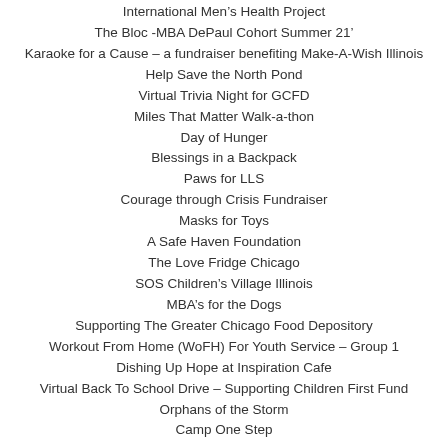International Men's Health Project
The Bloc -MBA DePaul Cohort Summer 21'
Karaoke for a Cause – a fundraiser benefiting Make-A-Wish Illinois
Help Save the North Pond
Virtual Trivia Night for GCFD
Miles That Matter Walk-a-thon
Day of Hunger
Blessings in a Backpack
Paws for LLS
Courage through Crisis Fundraiser
Masks for Toys
A Safe Haven Foundation
The Love Fridge Chicago
SOS Children's Village Illinois
MBA's for the Dogs
Supporting The Greater Chicago Food Depository
Workout From Home (WoFH) For Youth Service – Group 1
Dishing Up Hope at Inspiration Cafe
Virtual Back To School Drive – Supporting Children First Fund
Orphans of the Storm
Camp One Step